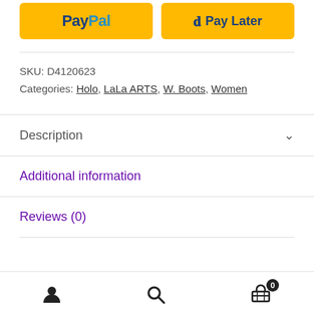[Figure (screenshot): PayPal payment button (yellow background with PayPal logo in blue)]
[Figure (screenshot): Pay Later button (yellow background with PayPal P logo and Pay Later text in blue)]
SKU: D4120623
Categories: Holo, LaLa ARTS, W. Boots, Women
Description
Additional information
Reviews (0)
[Figure (screenshot): Bottom navigation bar with user icon, search icon, and cart icon with badge showing 0]